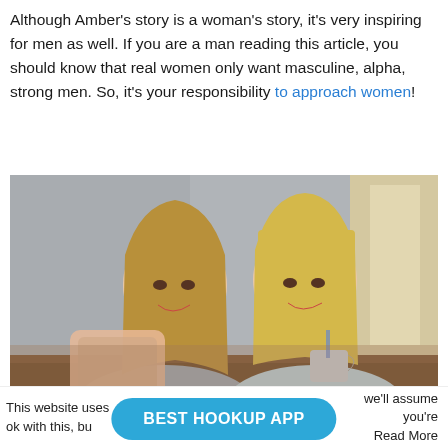Although Amber's story is a woman's story, it's very inspiring for men as well. If you are a man reading this article, you should know that real women only want masculine, alpha, strong men. So, it's your responsibility to approach women!
[Figure (photo): Two young blonde women sitting at a table in a cafe, smiling and looking at a smartphone being held in the foreground. One woman wears a grey shirt, the other wears a light blue top and holds a cup.]
This website uses [cookie notice partially obscured] we'll assume you're ok with this, bu[t] [obscured] Read More